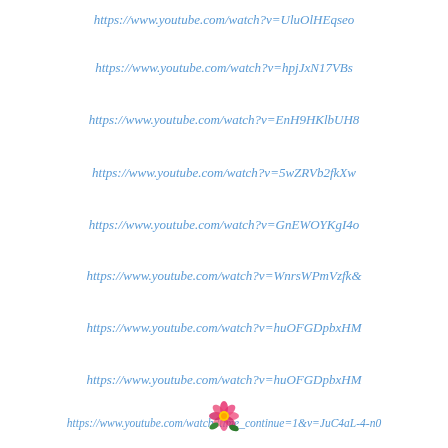https://www.youtube.com/watch?v=UluOlHEqseo
https://www.youtube.com/watch?v=hpjJxN17VBs
https://www.youtube.com/watch?v=EnH9HKlbUH8
https://www.youtube.com/watch?v=5wZRVb2fkXw
https://www.youtube.com/watch?v=GnEWOYKgI4o
https://www.youtube.com/watch?v=WnrsWPmVzfk&
https://www.youtube.com/watch?v=huOFGDpbxHM
https://www.youtube.com/watch?v=huOFGDpbxHM
https://www.youtube.com/watch?time_continue=1&v=JuC4aL-4-n0
[Figure (illustration): Small colorful hibiscus flower emoji/clip art in pink and red with green leaves]